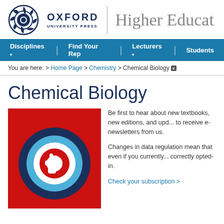[Figure (logo): Oxford University Press logo with circular feather emblem and text OXFORD UNIVERSITY PRESS]
Higher Educa
Disciplines ▾  |  Find Your Rep  |  Lecturers ▾  |  Students
You are here: > Home Page > Chemistry > Chemical Biology [x]
Chemical Biology
[Figure (illustration): Red background with dark blue and light blue concentric swirl/circular arrow logo with a white hand cursor icon]
Be first to hear about new textbooks, new editions, and upd... to receive e-newsletters from us.
Changes in data regulation mean that even if you currently... correctly opted-in.
Check your subscription >